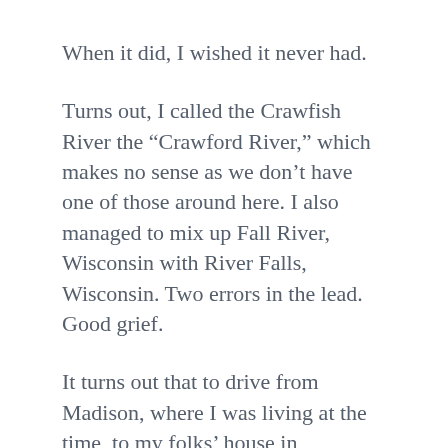When it did, I wished it never had.
Turns out, I called the Crawfish River the “Crawford River,” which makes no sense as we don’t have one of those around here. I also managed to mix up Fall River, Wisconsin with River Falls, Wisconsin. Two errors in the lead. Good grief.
It turns out that to drive from Madison, where I was living at the time, to my folks’ house in Milwaukee, I actually had to cross the Crawfish River. Even now, years later, I’ll be driving in some part of the state and end up on a bridge over that damned thing. It never goes away.